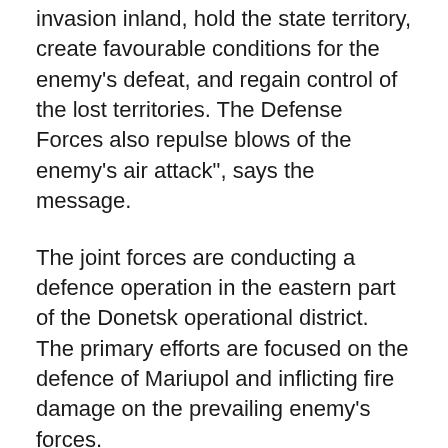invasion inland, hold the state territory, create favourable conditions for the enemy's defeat, and regain control of the lost territories. The Defense Forces also repulse blows of the enemy's air attack", says the message.
The joint forces are conducting a defence operation in the eastern part of the Donetsk operational district. The primary efforts are focused on the defence of Mariupol and inflicting fire damage on the prevailing enemy's forces.
Other groups are conducting defensive operations and battles in Slobozhanskyy and the eastern part of the Tavriyskyy directions. In particular, the Ukrainian Air Assault Forces units stopped enemy convoys trying to advance towards the Dnipropetrovsk region